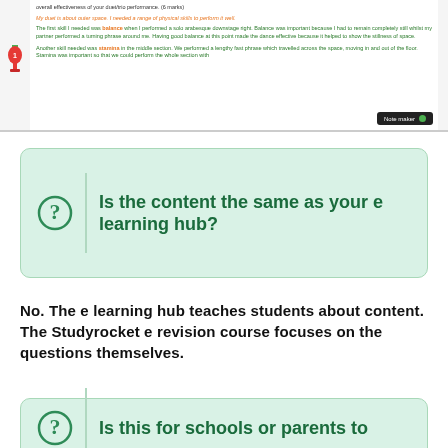[Figure (screenshot): Screenshot of an e-learning interface showing a student answer about a duet/trio dance performance, with highlighted keywords in orange (balance, stamina) and green text, and a 'Note maker' toolbar visible at the bottom right.]
Is the content the same as your e learning hub?
No. The e learning hub teaches students about content. The Studyrocket e revision course focuses on the questions themselves.
Is this for schools or parents to